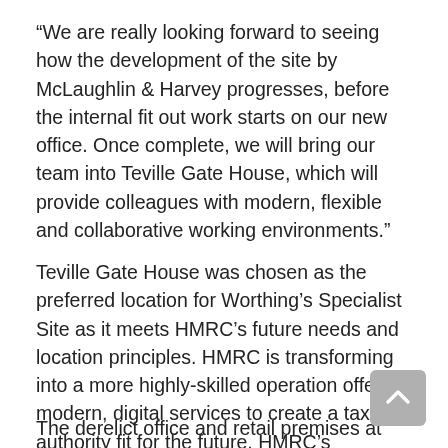“We are really looking forward to seeing how the development of the site by McLaughlin & Harvey progresses, before the internal fit out work starts on our new office. Once complete, we will bring our team into Teville Gate House, which will provide colleagues with modern, flexible and collaborative working environments.”
Teville Gate House was chosen as the preferred location for Worthing’s Specialist Site as it meets HMRC’s future needs and location principles. HMRC is transforming into a more highly-skilled operation offering modern, digital services to create a tax authority fit for the future. HMRC’s Locations Programme is the key to the department’s wider transformation.
The derelict office and retail premises at Teville Gate